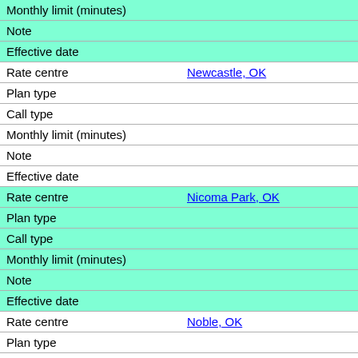| Field | Value |
| --- | --- |
| Monthly limit (minutes) |  |
| Note |  |
| Effective date |  |
| Rate centre | Newcastle, OK |
| Plan type |  |
| Call type |  |
| Monthly limit (minutes) |  |
| Note |  |
| Effective date |  |
| Rate centre | Nicoma Park, OK |
| Plan type |  |
| Call type |  |
| Monthly limit (minutes) |  |
| Note |  |
| Effective date |  |
| Rate centre | Noble, OK |
| Plan type |  |
| Call type |  |
| Monthly limit (minutes) |  |
| Note |  |
| Effective date |  |
| Rate centre | Norman, OK |